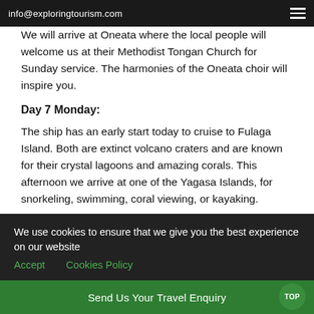info@exploringtourism.com
We will arrive at Oneata where the local people will welcome us at their Methodist Tongan Church for Sunday service. The harmonies of the Oneata choir will inspire you.
Day 7 Monday:
The ship has an early start today to cruise to Fulaga Island. Both are extinct volcano craters and are known for their crystal lagoons and amazing corals. This afternoon we arrive at one of the Yagasa Islands, for snorkeling, swimming, coral viewing, or kayaking.
Day 8 Tuesday:
Explore uninhabited Vuaqava and its central lake is known for turtles, snakes & amazing birdlife. This is a sacred island for the
We use cookies to ensure that we give you the best experience on our website   Accept   Cookies Policy
Send Us Your Travel Enquiry